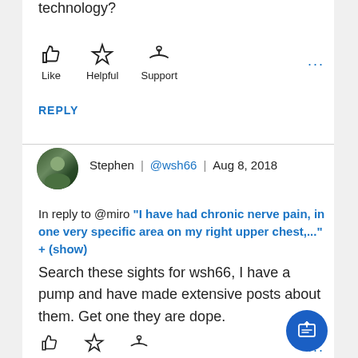technology?
[Figure (other): Like, Helpful, Support reaction icons with labels]
REPLY
Stephen | @wsh66 | Aug 8, 2018
In reply to @miro "I have had chronic nerve pain, in one very specific area on my right upper chest,..." + (show)
Search these sights for wsh66, I have a pump and have made extensive posts about them. Get one they are dope.
[Figure (other): Like, Helpful, Support reaction icons at bottom of comment]